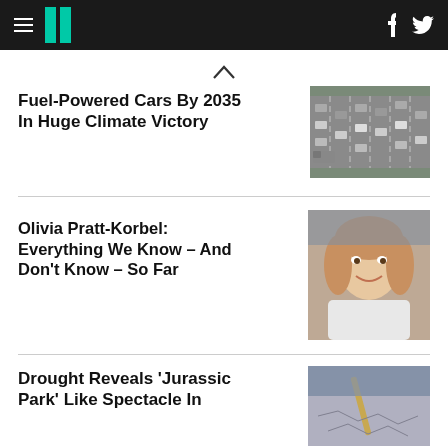HuffPost navigation with hamburger menu, logo, facebook and twitter icons
Fuel-Powered Cars By 2035 In Huge Climate Victory
[Figure (photo): Aerial view of busy multi-lane highway with cars and trucks]
Olivia Pratt-Korbel: Everything We Know – And Don't Know – So Far
[Figure (photo): Photo of a young girl with blonde hair smiling]
Drought Reveals 'Jurassic Park' Like Spectacle In